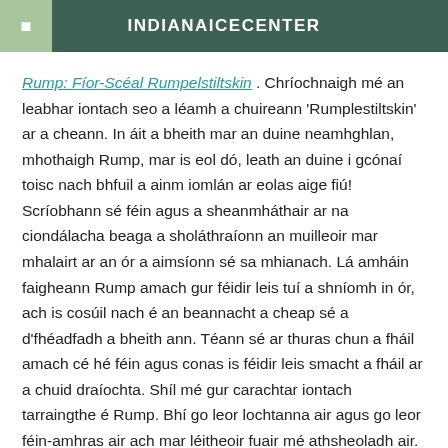INDIANAICECENTER
Rump: Fíor-Scéal Rumpelstiltskin . Chríochnaigh mé an leabhar iontach seo a léamh a chuireann 'Rumplestiltskin' ar a cheann. In áit a bheith mar an duine neamhghlan, mhothaigh Rump, mar is eol dó, leath an duine i gcónaí toisc nach bhfuil a ainm iomlán ar eolas aige fiú! Scríobhann sé féin agus a sheanmháthair ar na ciondálacha beaga a sholáthraíonn an muilleoir mar mhalairt ar an ór a aimsíonn sé sa mhianach. Lá amháin faigheann Rump amach gur féidir leis tuí a shníomh in ór, ach is cosúil nach é an beannacht a cheap sé a d'fhéadfadh a bheith ann. Téann sé ar thuras chun a fháil amach cé hé féin agus conas is féidir leis smacht a fháil ar a chuid draíochta. Shíl mé gur carachtar iontach tarraingthe é Rump. Bhí go leor lochtanna air agus go leor féin-amhras air ach mar léitheoir fuair mé athsheoladh air. Déanann an t-údar…